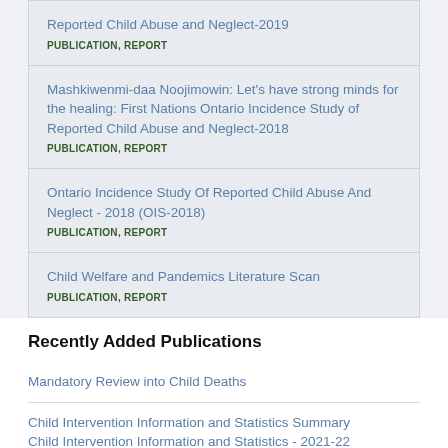Reported Child Abuse and Neglect-2019
PUBLICATION, REPORT
Mashkiwenmi-daa Noojimowin: Let's have strong minds for the healing: First Nations Ontario Incidence Study of Reported Child Abuse and Neglect-2018
PUBLICATION, REPORT
Ontario Incidence Study Of Reported Child Abuse And Neglect - 2018 (OIS-2018)
PUBLICATION, REPORT
Child Welfare and Pandemics Literature Scan
PUBLICATION, REPORT
Recently Added Publications
Mandatory Review into Child Deaths
Child Intervention Information and Statistics Summary Child Intervention Information and Statistics - 2021-22